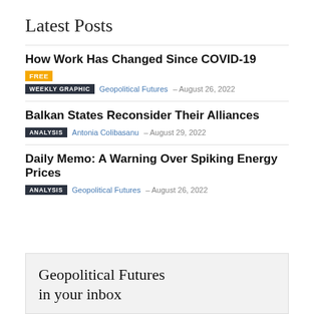Latest Posts
How Work Has Changed Since COVID-19
FREE | WEEKLY GRAPHIC  Geopolitical Futures  –  August 26, 2022
Balkan States Reconsider Their Alliances
ANALYSIS  Antonia Colibasanu  –  August 29, 2022
Daily Memo: A Warning Over Spiking Energy Prices
ANALYSIS  Geopolitical Futures  –  August 26, 2022
Geopolitical Futures in your inbox